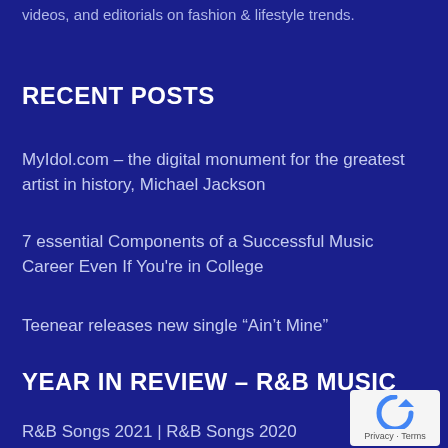videos, and editorials on fashion & lifestyle trends.
RECENT POSTS
MyIdol.com – the digital monument for the greatest artist in history, Michael Jackson
7 essential Components of a Successful Music Career Even If You're in College
Teenear releases new single “Ain’t Mine”
YEAR IN REVIEW – R&B MUSIC
R&B Songs 2021 | R&B Songs 2020
[Figure (logo): reCAPTCHA badge with blue arrow icon and Privacy/Terms text]